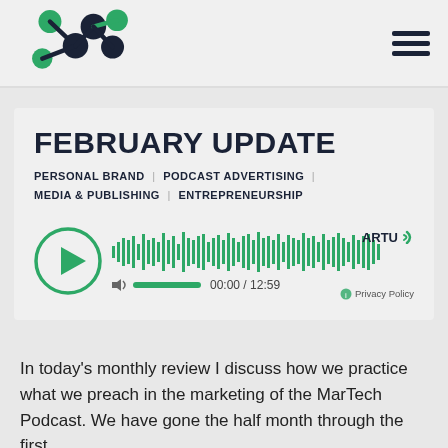[Figure (logo): MarTech podcast logo — stylized M made of connected nodes in green and dark navy blue]
FEBRUARY UPDATE
PERSONAL BRAND | PODCAST ADVERTISING | MEDIA & PUBLISHING | ENTREPRENEURSHIP
[Figure (other): Audio player with play button (circle with triangle), waveform visualization in green, volume control, time display 00:00 / 12:59, ARTU logo, Privacy Policy link]
In today's monthly review I discuss how we practice what we preach in the marketing of the MarTech Podcast. We have gone the half month through the first